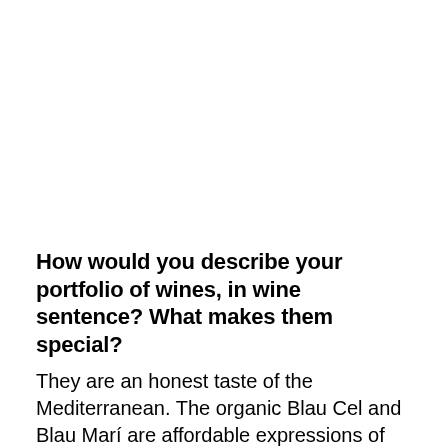How would you describe your portfolio of wines, in wine sentence? What makes them special?
They are an honest taste of the Mediterranean. The organic Blau Cel and Blau Marí are affordable expressions of the Mediterranean viticulture. The Blanc Vin Natural is an upgrade...